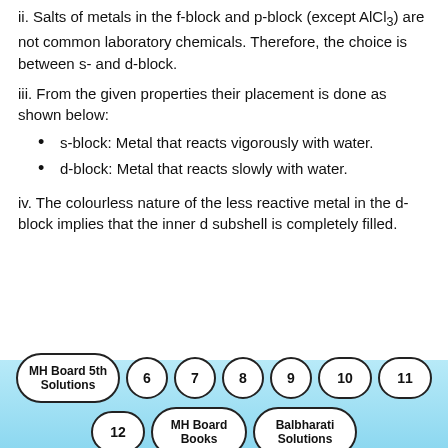ii. Salts of metals in the f-block and p-block (except AlCl₃) are not common laboratory chemicals. Therefore, the choice is between s- and d-block.
iii. From the given properties their placement is done as shown below:
s-block: Metal that reacts vigorously with water.
d-block: Metal that reacts slowly with water.
iv. The colourless nature of the less reactive metal in the d-block implies that the inner d subshell is completely filled.
MH Board 5th Solutions  6  7  8  9  10  11  12  MH Board Books  Balbharati Solutions